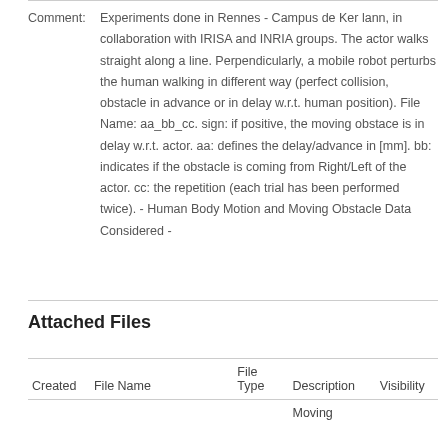Comment: Experiments done in Rennes - Campus de Ker lann, in collaboration with IRISA and INRIA groups. The actor walks straight along a line. Perpendicularly, a mobile robot perturbs the human walking in different way (perfect collision, obstacle in advance or in delay w.r.t. human position). File Name: aa_bb_cc. sign: if positive, the moving obstace is in delay w.r.t. actor. aa: defines the delay/advance in [mm]. bb: indicates if the obstacle is coming from Right/Left of the actor. cc: the repetition (each trial has been performed twice). - Human Body Motion and Moving Obstacle Data Considered -
Attached Files
| Created | File Name | File Type | Description | Visibility |
| --- | --- | --- | --- | --- |
|  |  |  | Moving |  |